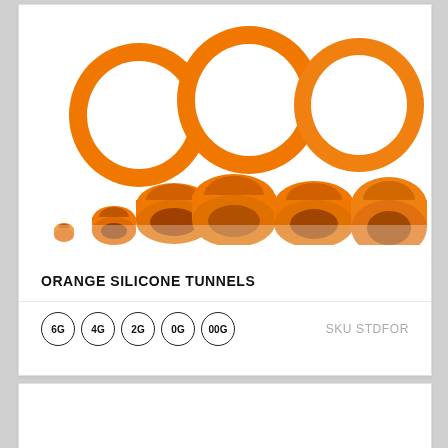[Figure (photo): Multiple orange silicone ear tunnels/plugs of various sizes arranged together on white background, showing different gauge sizes from small to large rings]
ORANGE SILICONE TUNNELS
6G  4G  2G  0G  00G   SKU STDFOR